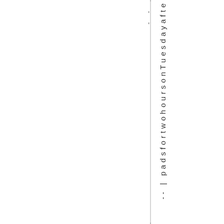-- | padsfortwohoursonTuesdayafte